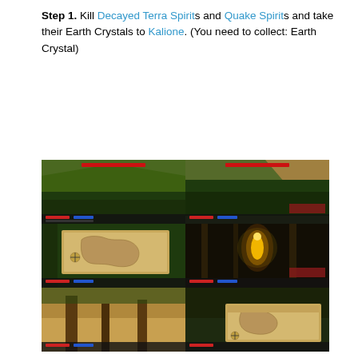Step 1. Kill Decayed Terra Spirits and Quake Spirits and take their Earth Crystals to Kalione. (You need to collect: Earth Crystal)
[Figure (screenshot): Six game screenshots arranged in a 2x3 grid showing in-game scenes from what appears to be an MMORPG. Top row: outdoor forest/mountain terrain scenes with HUD elements. Middle row: left shows an in-game map on parchment background, right shows a golden glowing figure in a dark cave. Bottom row: left shows sandy terrain with trees, right shows another in-game map on parchment background.]